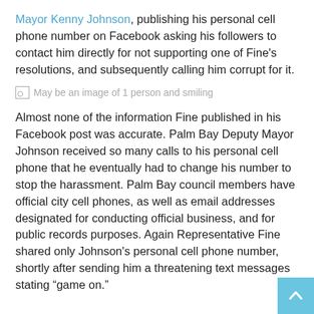Mayor Kenny Johnson, publishing his personal cell phone number on Facebook asking his followers to contact him directly for not supporting one of Fine's resolutions, and subsequently calling him corrupt for it.
[Figure (photo): May be an image of 1 person and smiling]
Almost none of the information Fine published in his Facebook post was accurate. Palm Bay Deputy Mayor Johnson received so many calls to his personal cell phone that he eventually had to change his number to stop the harassment. Palm Bay council members have official city cell phones, as well as email addresses designated for conducting official business, and for public records purposes. Again Representative Fine shared only Johnson's personal cell phone number, shortly after sending him a threatening text messages stating “game on.”